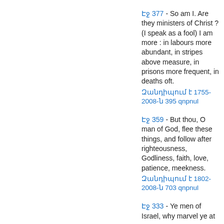Էջ 377 - So am I. Are they ministers of Christ ? (I speak as a fool) I am more : in labours more abundant, in stripes above measure, in prisons more frequent, in deaths oft.
Զանդիպում է 1755-2008-ն 395 qnpnul
Էջ 359 - But thou, O man of God, flee these things, and follow after righteousness, Godliness, faith, love, patience, meekness.
Զանդիպում է 1802-2008-ն 703 qnpnul
Էջ 333 - Ye men of Israel, why marvel ye at